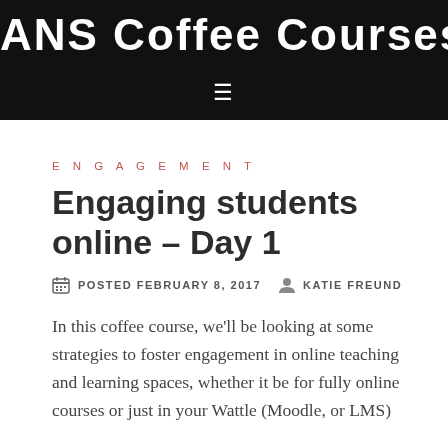ANS Coffee Courses
ENGAGEMENT
Engaging students online – Day 1
POSTED FEBRUARY 8, 2017  KATIE FREUND
In this coffee course, we'll be looking at some strategies to foster engagement in online teaching and learning spaces, whether it be for fully online courses or just in your Wattle (Moodle, or LMS)